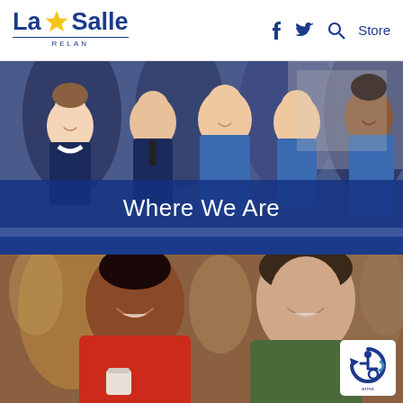La Salle RELAN — Store
[Figure (photo): Group of school children in navy blue uniforms smiling at the camera]
Where We Are
[Figure (photo): Two women laughing together at a community gathering, one wearing a red cardigan holding a coffee cup]